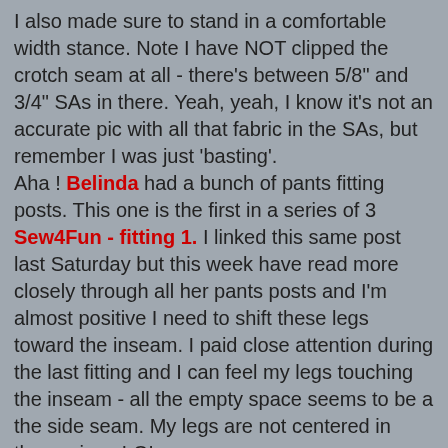I also made sure to stand in a comfortable width stance. Note I have NOT clipped the crotch seam at all - there's between 5/8" and 3/4" SAs in there. Yeah, yeah, I know it's not an accurate pic with all that fabric in the SAs, but remember I was just 'basting'.
Aha ! Belinda had a bunch of pants fitting posts. This one is the first in a series of 3 Sew4Fun - fitting 1. I linked this same post last Saturday but this week have read more closely through all her pants posts and I'm almost positive I need to shift these legs toward the inseam. I paid close attention during the last fitting and I can feel my legs touching the inseam - all the empty space seems to be a the side seam. My legs are not centered in these pipes LOL
Now ? I posted these pic in the Sewalong thread on PR and will see if there are any comments tonight, but
I'm going to trash this pair instead of finishing them 'just because' - I'm only playing with $5 worth of fabric here and that 5 bucks has already provided me with 2 weeks of entertainment. Plenty enough bang for the buck without stressing over having to end up with a finished